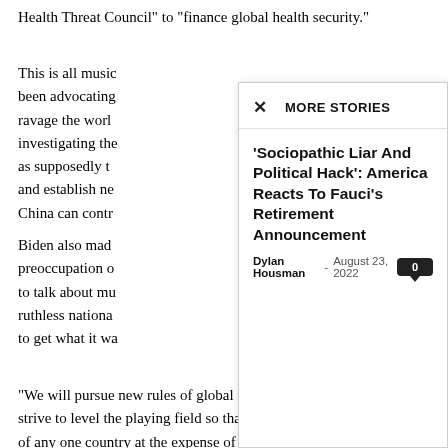Health Threat Council" to "finance global health security."
This is all music to the ears of globalists who have been advocating for a new pandemic treaty since Covid ravage the world. They are now proposing "investigating the origins" of diseases — not China, as supposedly the "pandemic treaty" would require — and establish new "international norms" that even China can control.
Biden also made statements that echoed the preoccupation of his globalist handlers. He continued to talk about multilateral frameworks while China, a ruthless national power, plays the geopolitical game to get what it wants.
[Figure (screenshot): More Stories modal popup with headline 'Sociopathic Liar And Political Hack': America Reacts To Fauci's Retirement Announcement by Dylan Housman, August 23, 2022, with comment count 0]
"We will pursue new rules of global trade and economic growth that strive to level the playing field so that it's not artificially tipped in favor of any one country at the expense of others and every nation has a